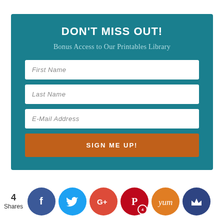DON'T MISS OUT!
Bonus Access to Our Printables Library
First Name
Last Name
E-Mail Address
SIGN ME UP!
4 Shares
[Figure (infographic): Social share buttons: Facebook, Twitter, Google+, Pinterest (4), Yummly, and a crown/misc icon]